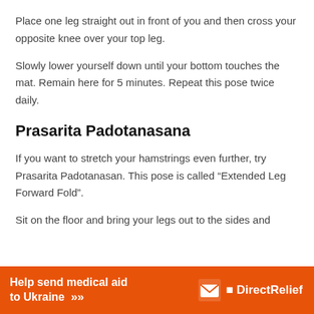Place one leg straight out in front of you and then cross your opposite knee over your top leg.
Slowly lower yourself down until your bottom touches the mat. Remain here for 5 minutes. Repeat this pose twice daily.
Prasarita Padotanasana
If you want to stretch your hamstrings even further, try Prasarita Padotanasan. This pose is called “Extended Leg Forward Fold”.
Sit on the floor and bring your legs out to the sides and...
[Figure (other): Orange advertisement banner: 'Help send medical aid to Ukraine >>' with DirectRelief logo on the right]